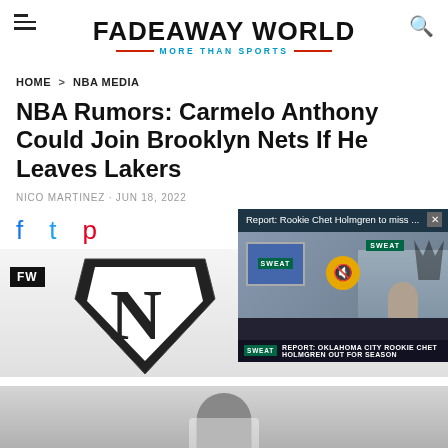FADEAWAY WORLD — MORE THAN SPORTS
HOME > NBA MEDIA
NBA Rumors: Carmelo Anthony Could Join Brooklyn Nets If He Leaves Lakers
NICO MARTINEZ · JUN 18, 2022
[Figure (screenshot): Social share icons (Facebook, Twitter, Pinterest) and a video overlay popup for 'Report: Rookie Chet Holmgren to miss ...' with SWEAT Sports logo and ticker reading 'REPORT: OKLAHOMA CITY ROOKIE CHET HOLMGREN OUT FOR SEASON']
[Figure (photo): Brooklyn Nets logo with FW watermark and partial photo of Carmelo Anthony at the bottom]